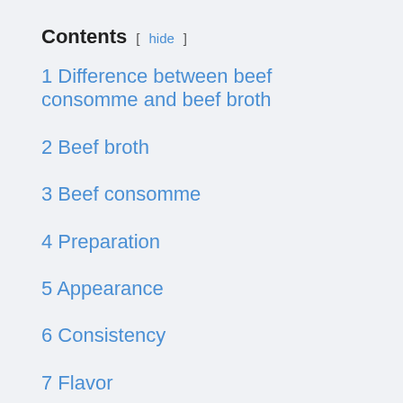Contents [ hide ]
1 Difference between beef consomme and beef broth
2 Beef broth
3 Beef consomme
4 Preparation
5 Appearance
6 Consistency
7 Flavor